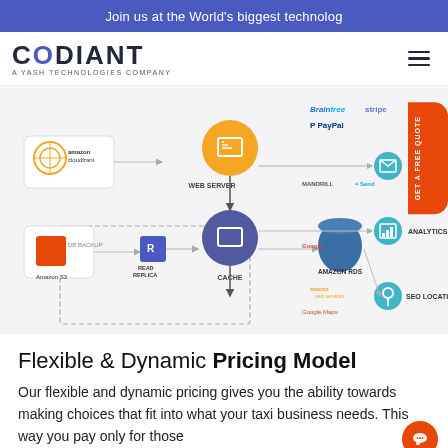Join us at the World's biggest technolog
[Figure (logo): Codiant logo - A Yash Technologies Company]
[Figure (infographic): Architecture diagram showing web server, cache, Amazon RDS, Read Replica, Amazon S3, Amazon CloudFront connected to services: Email (Braintree, Stripe, PayPal, Mandrill, SendGrid), Analytics (Google), SEO Location (Google Maps)]
Flexible & Dynamic Pricing Model
Our flexible and dynamic pricing gives you the ability towards making choices that fit into what your taxi business needs. This way you pay only for those